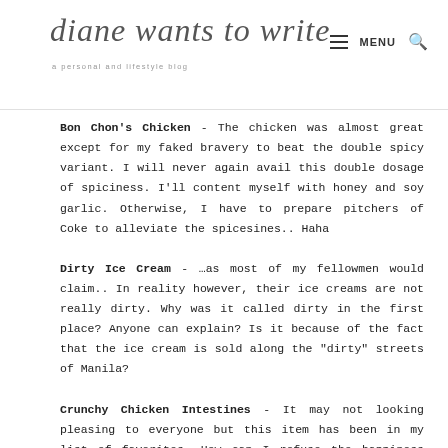diane wants to write — a personal and lifestyle blog
Bon Chon's Chicken - The chicken was almost great except for my faked bravery to beat the double spicy variant. I will never again avail this double dosage of spiciness. I'll content myself with honey and soy garlic. Otherwise, I have to prepare pitchers of Coke to alleviate the spicesines.. Haha
Dirty Ice Cream - …as most of my fellowmen would claim.. In reality however, their ice creams are not really dirty. Why was it called dirty in the first place? Anyone can explain? Is it because of the fact that the ice cream is sold along the "dirty" streets of Manila?
Crunchy Chicken Intestines - It may not looking pleasing to everyone but this item has been in my list of favorites. How can I refuse the happiness spent in Php 50.